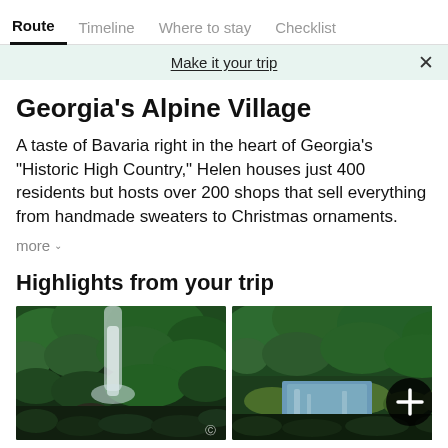Route | Timeline | Where to stay | Checklist
Make it your trip
Georgia's Alpine Village
A taste of Bavaria right in the heart of Georgia's "Historic High Country," Helen houses just 400 residents but hosts over 200 shops that sell everything from handmade sweaters to Christmas ornaments.
more
Highlights from your trip
[Figure (photo): A waterfall cascading through lush green forest]
[Figure (photo): A creek with rocks surrounded by green forest with a plus button overlay]